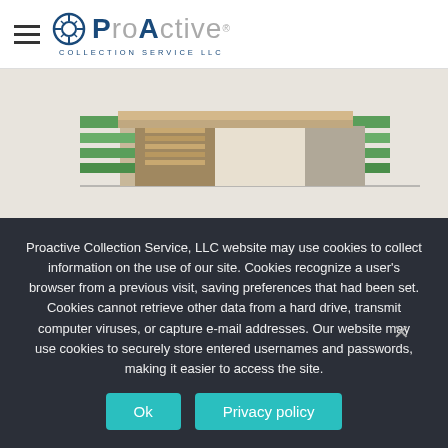[Figure (logo): Proactive Collection Service LLC logo with compass/target icon and hamburger menu]
[Figure (illustration): Architectural rendering of a modern building with green landscaping panels and wood/concrete facade]
PCS collectors are trained that whenever two parties are faced with a problem, mediation must come into play. We listen to former patients and determine what
Proactive Collection Service, LLC website may use cookies to collect information on the use of our site. Cookies recognize a user's browser from a previous visit, saving preferences that had been set. Cookies cannot retrieve other data from a hard drive, transmit computer viruses, or capture e-mail addresses. Our website may use cookies to securely store entered usernames and passwords, making it easier to access the site.